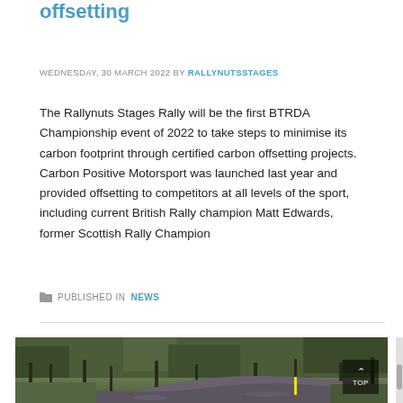offsetting
WEDNESDAY, 30 MARCH 2022 BY RALLYNUTSSTAGES
The Rallynuts Stages Rally will be the first BTRDA Championship event of 2022 to take steps to minimise its carbon footprint through certified carbon offsetting projects. Carbon Positive Motorsport was launched last year and provided offsetting to competitors at all levels of the sport, including current British Rally champion Matt Edwards, former Scottish Rally Champion
PUBLISHED IN NEWS
[Figure (photo): A rally car on a gravel forest road surrounded by trees]